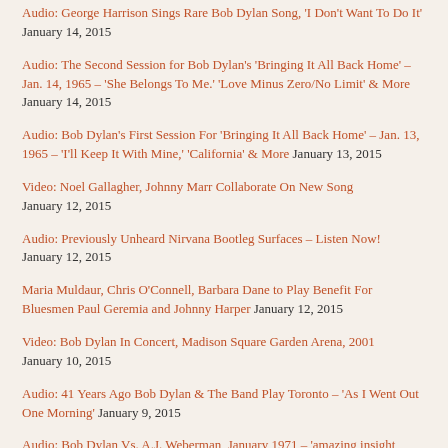Audio: George Harrison Sings Rare Bob Dylan Song, 'I Don't Want To Do It' January 14, 2015
Audio: The Second Session for Bob Dylan's 'Bringing It All Back Home' – Jan. 14, 1965 – 'She Belongs To Me.' 'Love Minus Zero/No Limit' & More January 14, 2015
Audio: Bob Dylan's First Session For 'Bringing It All Back Home' – Jan. 13, 1965 – 'I'll Keep It With Mine,' 'California' & More January 13, 2015
Video: Noel Gallagher, Johnny Marr Collaborate On New Song January 12, 2015
Audio: Previously Unheard Nirvana Bootleg Surfaces – Listen Now! January 12, 2015
Maria Muldaur, Chris O'Connell, Barbara Dane to Play Benefit For Bluesmen Paul Geremia and Johnny Harper January 12, 2015
Video: Bob Dylan In Concert, Madison Square Garden Arena, 2001 January 10, 2015
Audio: 41 Years Ago Bob Dylan & The Band Play Toronto – 'As I Went Out One Morning' January 9, 2015
Audio: Bob Dylan Vs. A.J. Weberman, January 1971 – 'amazing insight